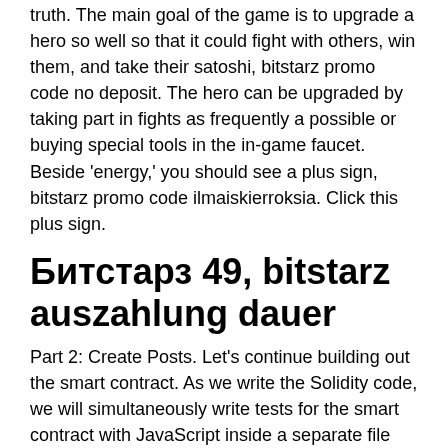truth. The main goal of the game is to upgrade a hero so well so that it could fight with others, win them, and take their satoshi, bitstarz promo code no deposit. The hero can be upgraded by taking part in fights as frequently a possible or buying special tools in the in-game faucet. Beside 'energy,' you should see a plus sign, bitstarz promo code ilmaiskierroksia. Click this plus sign.
Битстарз 49, bitstarz auszahlung dauer
Part 2: Create Posts. Let's continue building out the smart contract. As we write the Solidity code, we will simultaneously write tests for the smart contract with JavaScript inside a separate file with for a few reasons: It will save us time, bitstarz promo code no deposit 2021. Any time we make changes to the smart contract, we can ensure that all of the code we wrote before still works. Imagine